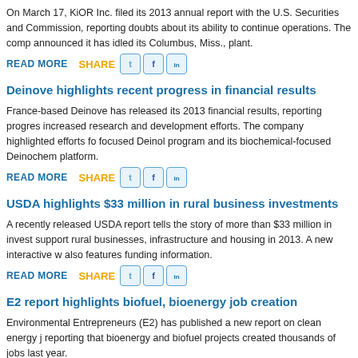On March 17, KiOR Inc. filed its 2013 annual report with the U.S. Securities and Commission, reporting doubts about its ability to continue operations. The company announced it has idled its Columbus, Miss., plant.
READ MORE   SHARE [twitter] [facebook] [linkedin]
Deinove highlights recent progress in financial results
France-based Deinove has released its 2013 financial results, reporting progress in increased research and development efforts. The company highlighted efforts for focused Deinol program and its biochemical-focused Deinochem platform.
READ MORE   SHARE [twitter] [facebook] [linkedin]
USDA highlights $33 million in rural business investments
A recently released USDA report tells the story of more than $33 million in investments to support rural businesses, infrastructure and housing in 2013. A new interactive website also features funding information.
READ MORE   SHARE [twitter] [facebook] [linkedin]
E2 report highlights biofuel, bioenergy job creation
Environmental Entrepreneurs (E2) has published a new report on clean energy jobs, reporting that bioenergy and biofuel projects created thousands of jobs last year.
READ MORE   SHARE [twitter] [facebook] [linkedin]
New landfill gas-to-energy project under development in S.C...